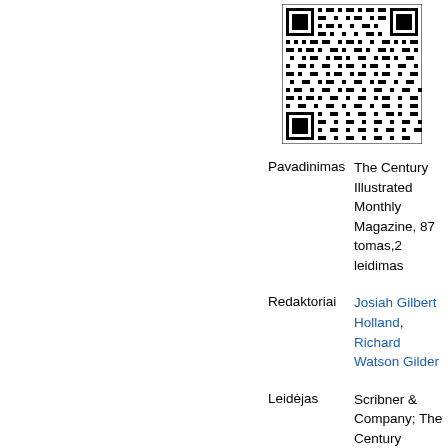[Figure (other): QR code in upper right area of the page]
| Pavadinimas | The Century Illustrated Monthly Magazine, 87 tomas,2 leidimas |
| Redaktoriai | Josiah Gilbert Holland, Richard Watson Gilder |
| Leidėjas | Scribner & Company; The Century Company, 1914 |